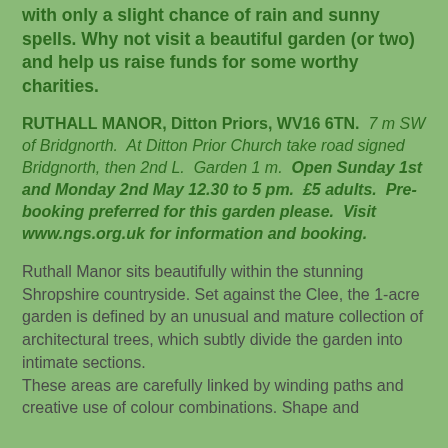with only a slight chance of rain and sunny spells. Why not visit a beautiful garden (or two) and help us raise funds for some worthy charities.
RUTHALL MANOR, Ditton Priors, WV16 6TN. 7 m SW of Bridgnorth. At Ditton Prior Church take road signed Bridgnorth, then 2nd L. Garden 1 m. Open Sunday 1st and Monday 2nd May 12.30 to 5 pm. £5 adults. Pre-booking preferred for this garden please. Visit www.ngs.org.uk for information and booking.
Ruthall Manor sits beautifully within the stunning Shropshire countryside. Set against the Clee, the 1-acre garden is defined by an unusual and mature collection of architectural trees, which subtly divide the garden into intimate sections. These areas are carefully linked by winding paths and creative use of colour combinations. Shape and